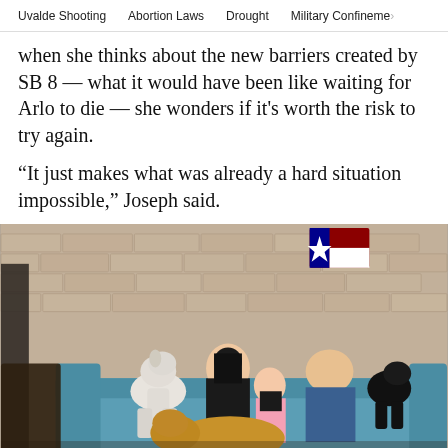Uvalde Shooting   Abortion Laws   Drought   Military Confinement
when she thinks about the new barriers created by SB 8 — what it would have been like waiting for Arlo to die — she wonders if it's worth the risk to try again.
“It just makes what was already a hard situation impossible,” Joseph said.
[Figure (photo): A family — a woman with dark hair, a young girl in a pink shirt, and a man in a blue shirt — sit on a blue outdoor couch against a brick wall with a Texas flag decoration. Three dogs are with them: a white dog sitting on the couch to the left, a black dog to the right of the man, and a golden retriever lying in the foreground.]